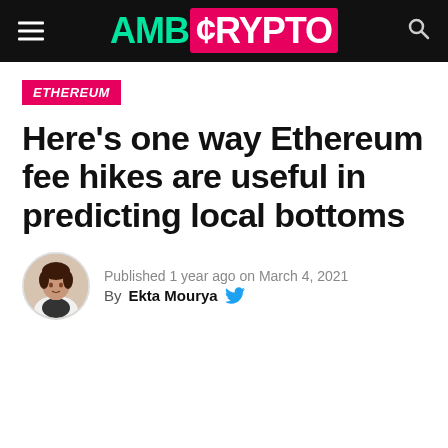AMB CRYPTO
ETHEREUM
Here’s one way Ethereum fee hikes are useful in predicting local bottoms
Published 1 year ago on March 4, 2021
By Ekta Mourya